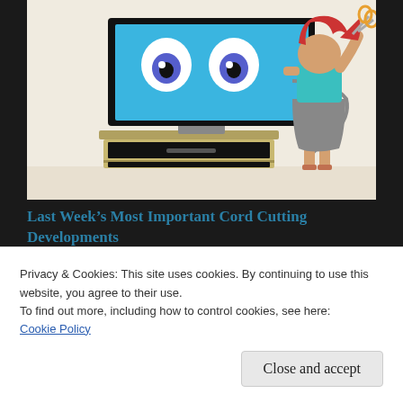[Figure (illustration): Cartoon illustration of a woman with red hair cutting a cable connected to a TV set on a stand. The TV has a blue screen with cartoon eyes. The woman holds scissors and wears a teal top and grey skirt. Background is light beige.]
Last Week's Most Important Cord Cutting Developments
September 1, 2020
In "News"
Privacy & Cookies: This site uses cookies. By continuing to use this website, you agree to their use.
To find out more, including how to control cookies, see here:
Cookie Policy
Close and accept